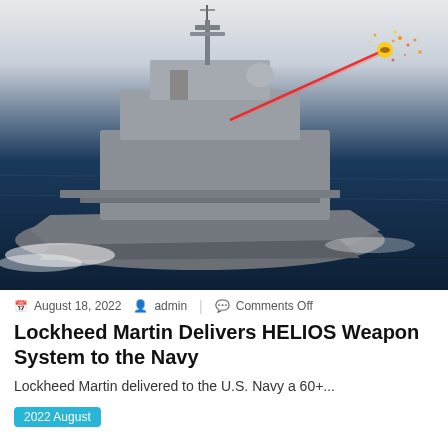[Figure (photo): Aerial view of a U.S. Navy destroyer ship at sea firing a red laser beam upward toward a distant target with explosion, illustrating the HELIOS laser weapon system in action.]
August 18, 2022   admin   Comments Off
Lockheed Martin Delivers HELIOS Weapon System to the Navy
Lockheed Martin delivered to the U.S. Navy a 60+...
2022 August